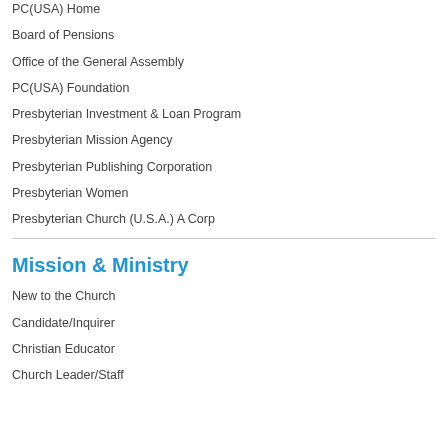PC(USA) Home
Board of Pensions
Office of the General Assembly
PC(USA) Foundation
Presbyterian Investment & Loan Program
Presbyterian Mission Agency
Presbyterian Publishing Corporation
Presbyterian Women
Presbyterian Church (U.S.A.) A Corp
Mission & Ministry
New to the Church
Candidate/Inquirer
Christian Educator
Church Leader/Staff